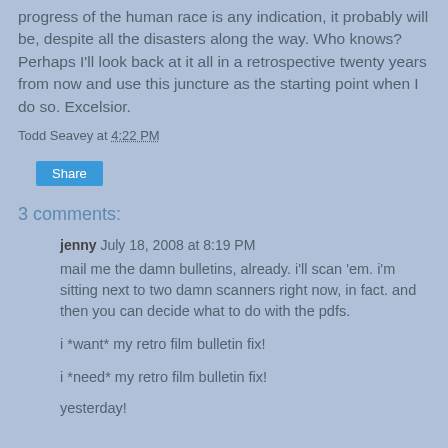progress of the human race is any indication, it probably will be, despite all the disasters along the way. Who knows? Perhaps I'll look back at it all in a retrospective twenty years from now and use this juncture as the starting point when I do so. Excelsior.
Todd Seavey at 4:22 PM
Share
3 comments:
jenny July 18, 2008 at 8:19 PM
mail me the damn bulletins, already. i'll scan 'em. i'm sitting next to two damn scanners right now, in fact. and then you can decide what to do with the pdfs.
i *want* my retro film bulletin fix!
i *need* my retro film bulletin fix!
yesterday!